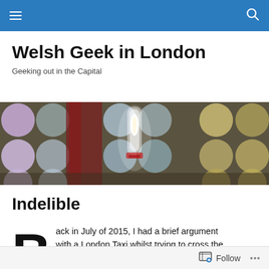Navigation bar with hamburger menu and search icon
Welsh Geek in London
Geeking out in the Capital
[Figure (photo): Hero image showing a lit glass vessel or lamp against a wall of colorful circular panels in an indoor setting.]
Indelible
ack in July of 2015, I had a brief argument with a London Taxi whilst trying to cross the
Follow  •••